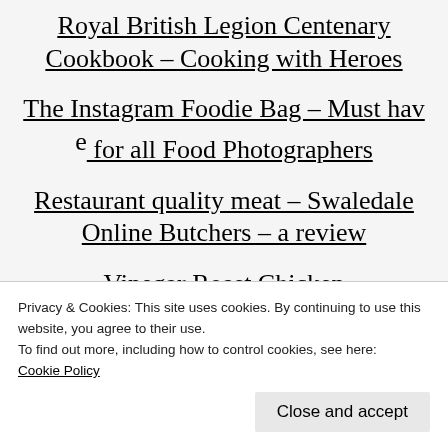Royal British Legion Centenary Cookbook – Cooking with Heroes
The Instagram Foodie Bag – Must have for all Food Photographers
Restaurant quality meat – Swaledale Online Butchers – a review
Vinegar Roast Chicken
Mohammed Ali Road, Mumbai's fabulous Street Food Market – Ramadan Special
Privacy & Cookies: This site uses cookies. By continuing to use this website, you agree to their use.
To find out more, including how to control cookies, see here: Cookie Policy
Close and accept